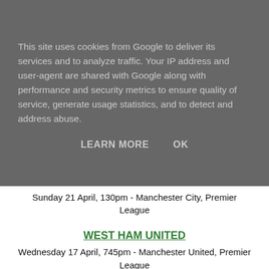This site uses cookies from Google to deliver its services and to analyze traffic. Your IP address and user-agent are shared with Google along with performance and security metrics to ensure quality of service, generate usage statistics, and to detect and address abuse.
LEARN MORE    OK
Sunday 21 April, 130pm - Manchester City, Premier League
WEST HAM UNITED
Wednesday 17 April, 745pm - Manchester United, Premier League
Saturday 20 April, 3pm - Wigan Athletic, Premier League
Saturday 4 May, 3pm - Newcastle United, Premier League
Outside the Premier League, Millwall have reduced prices for their upcoming Championship games against Watford (16 April) and Blackburn Rovers (23 April). It's now just £15 for adults and £10 for U16s.
Watching some of the capital's top youth sides in action often